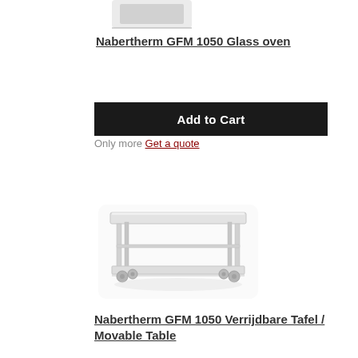[Figure (photo): Partial image of Nabertherm GFM 1050 Glass oven at top of page]
Nabertherm GFM 1050 Glass oven
Add to Cart
Only more Get a quote
[Figure (photo): Nabertherm GFM 1050 Verrijdbare Tafel / Movable Table - a two-shelf metal table on wheels]
Nabertherm GFM 1050 Verrijdbare Tafel / Movable Table